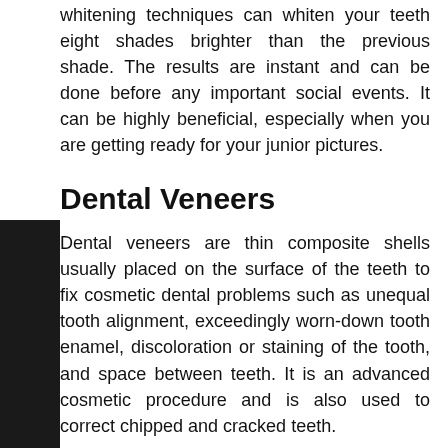whitening techniques can whiten your teeth eight shades brighter than the previous shade. The results are instant and can be done before any important social events. It can be highly beneficial, especially when you are getting ready for your junior pictures.
Dental Veneers
Dental veneers are thin composite shells usually placed on the surface of the teeth to fix cosmetic dental problems such as unequal tooth alignment, exceedingly worn-down tooth enamel, discoloration or staining of the tooth, and space between teeth. It is an advanced cosmetic procedure and is also used to correct chipped and cracked teeth.
Veneers are usually custom made at our dental